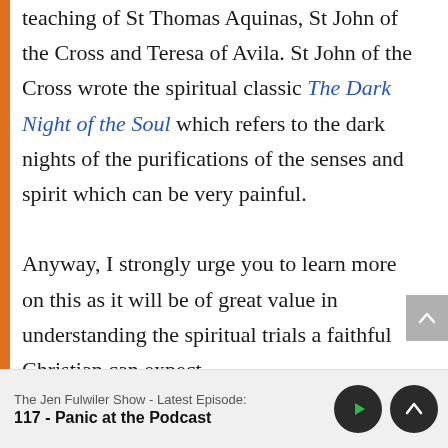teaching of St Thomas Aquinas, St John of the Cross and Teresa of Avila. St John of the Cross wrote the spiritual classic The Dark Night of the Soul which refers to the dark nights of the purifications of the senses and spirit which can be very painful.

Anyway, I strongly urge you to learn more on this as it will be of great value in understanding the spiritual trials a faithful Christian can expect.
The Jen Fulwiler Show - Latest Episode:
117 - Panic at the Podcast